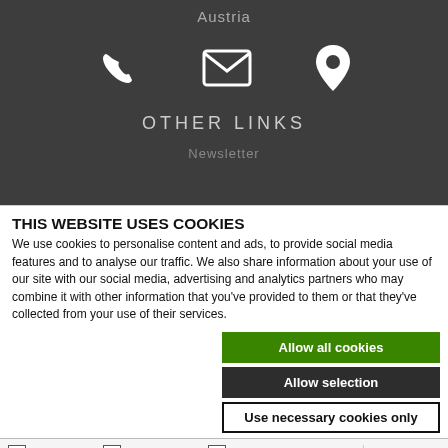Austria
[Figure (illustration): Three white icons on dark background: phone handset, envelope/email, map pin/location marker]
OTHER LINKS
Newsletter
THIS WEBSITE USES COOKIES
We use cookies to personalise content and ads, to provide social media features and to analyse our traffic. We also share information about your use of our site with our social media, advertising and analytics partners who may combine it with other information that you've provided to them or that they've collected from your use of their services.
Allow all cookies
Allow selection
Use necessary cookies only
Necessary  Preferences  Statistics  Marketing  Show details